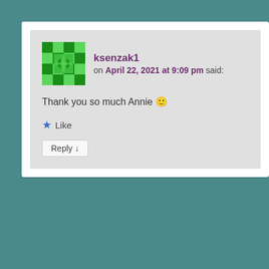[Figure (screenshot): Comment by ksenzak1 on April 22, 2021 at 9:09 pm saying 'Thank you so much Annie 🙂' with Like and Reply buttons, shown on a grey background card]
[Figure (screenshot): Comment by stamplicious on April 28, 2021 at 7:03 am saying 'Love this card and I totally love this little guy! You have used the challenge colours so creatively. Thanks for joining us at Just Add Ink!' with teal avatar]